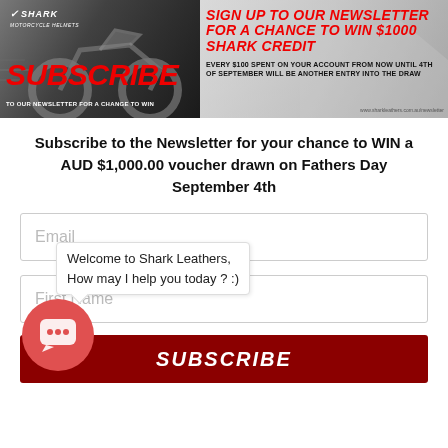[Figure (illustration): Shark Motorcycle Helmets promotional banner. Left side shows a motorcycle with 'SUBSCRIBE TO OUR NEWSLETTER FOR A CHANCE TO WIN' in large red italic text and Shark logo. Right side has red text 'SIGN UP TO OUR NEWSLETTER FOR A CHANCE TO WIN $1000 SHARK CREDIT' and black text 'EVERY $100 SPENT ON YOUR ACCOUNT FROM NOW UNTIL 4th OF SEPTEMBER WILL BE ANOTHER ENTRY INTO THE DRAW']
Subscribe to the Newsletter for your chance to WIN a AUD $1,000.00 voucher drawn on Fathers Day September 4th
Email
First Name
Welcome to Shark Leathers, How may I help you today ? :)
Subscribe
[Figure (illustration): Red circular chat button with a speech bubble icon]